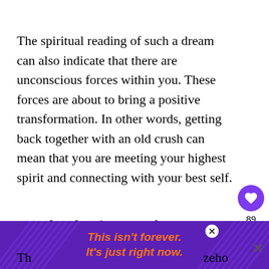The spiritual reading of such a dream can also indicate that there are unconscious forces within you. These forces are about to bring a positive transformation. In other words, getting back together with an old crush can mean that you are meeting your highest spirit and connecting with your best self.
10. What does it mean when you dream of having a crush on a stranger?
Th...
[Figure (infographic): Purple advertisement banner with orange italic text reading 'This isn't forever. It's just right now.' with decorative striped background and close button.]